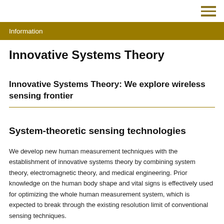Information
Innovative Systems Theory
Innovative Systems Theory: We explore wireless sensing frontier
System-theoretic sensing technologies
We develop new human measurement techniques with the establishment of innovative systems theory by combining system theory, electromagnetic theory, and medical engineering. Prior knowledge on the human body shape and vital signs is effectively used for optimizing the whole human measurement system, which is expected to break through the existing resolution limit of conventional sensing techniques.